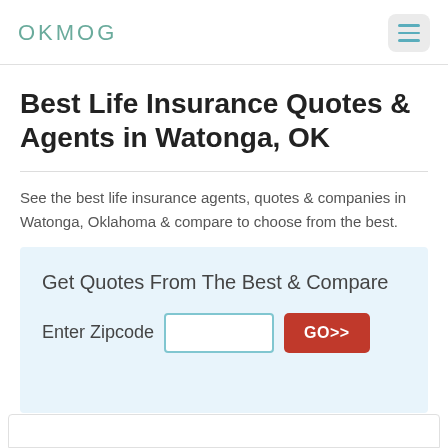OKMOG
Best Life Insurance Quotes & Agents in Watonga, OK
See the best life insurance agents, quotes & companies in Watonga, Oklahoma & compare to choose from the best.
Get Quotes From The Best & Compare
Enter Zipcode  [input]  GO>>